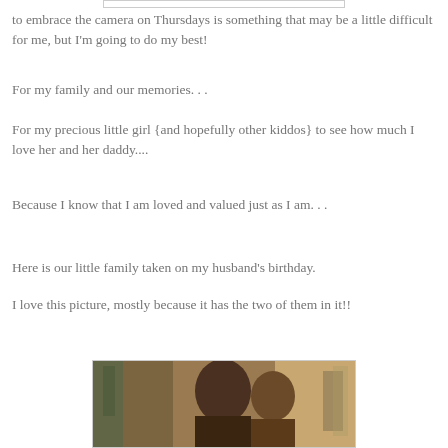to embrace the camera on Thursdays is something that may be a little difficult for me, but I'm going to do my best!
For my family and our memories. . .
For my precious little girl {and hopefully other kiddos} to see how much I love her and her daddy....
Because I know that I am loved and valued just as I am. . .
Here is our little family taken on my husband's birthday.
I love this picture, mostly because it has the two of them in it!!
[Figure (photo): A family photo showing people, taken on the husband's birthday. The photo is partially visible at the bottom of the page.]